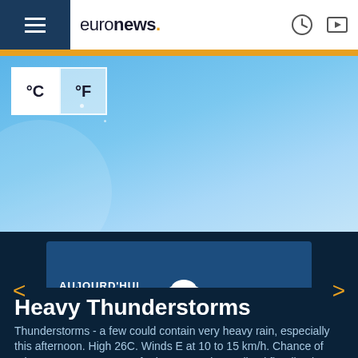euronews.
[Figure (screenshot): Temperature unit toggle showing °C selected and °F as alternative option]
[Figure (infographic): Weather forecast card showing AUJOURD'HUI 23/08 with thunderstorm icon and temperature 26°C / 22°C]
Heavy Thunderstorms
Thunderstorms - a few could contain very heavy rain, especially this afternoon. High 26C. Winds E at 10 to 15 km/h. Chance of rain 100%. 50 to 75mm of rain expected. Localized flooding is